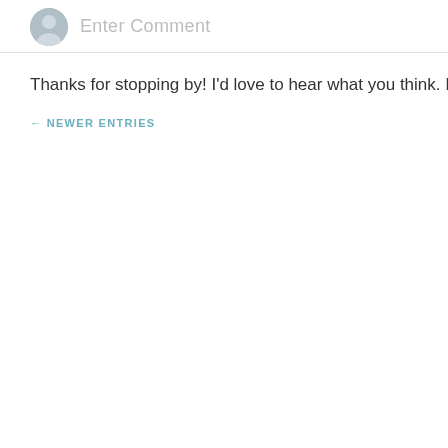[Figure (other): User avatar placeholder circle (grey) with a person silhouette icon, next to an 'Enter Comment' input placeholder text]
Thanks for stopping by! I'd love to hear what you think. I ♥ comme
← NEWER ENTRIES